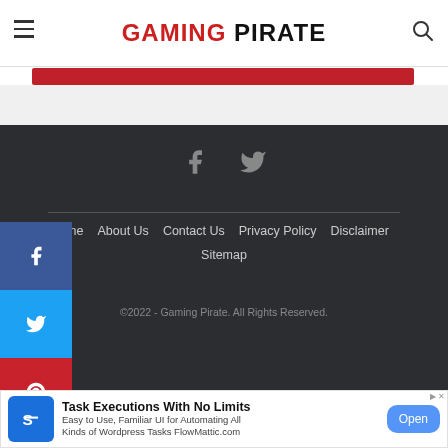GAMING PIRATE
[Figure (other): Red horizontal bar below header]
[Figure (other): Social media sidebar with Facebook, Twitter, Pinterest buttons]
[Figure (other): Footer social icons: Facebook and Twitter]
Home  About Us  Contact Us  Privacy Policy  Disclaimer  Sitemap
©2022 - Gaming Pirate. All Rights Reserved.
[Figure (other): Advertisement banner: Task Executions With No Limits. Easy to Use, Familiar UI for Automating All Kinds of Wordpress Tasks FlowMattic.com. Open button.]